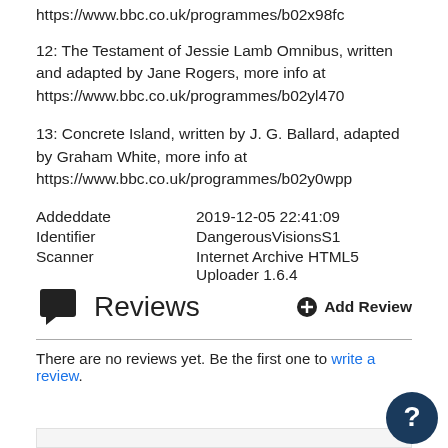https://www.bbc.co.uk/programmes/b02x98fc
12: The Testament of Jessie Lamb Omnibus, written and adapted by Jane Rogers, more info at https://www.bbc.co.uk/programmes/b02yl470
13: Concrete Island, written by J. G. Ballard, adapted by Graham White, more info at https://www.bbc.co.uk/programmes/b02y0wpp
| Addeddate | 2019-12-05 22:41:09 |
| Identifier | DangerousVisionsS1 |
| Scanner | Internet Archive HTML5 Uploader 1.6.4 |
Reviews
There are no reviews yet. Be the first one to write a review.